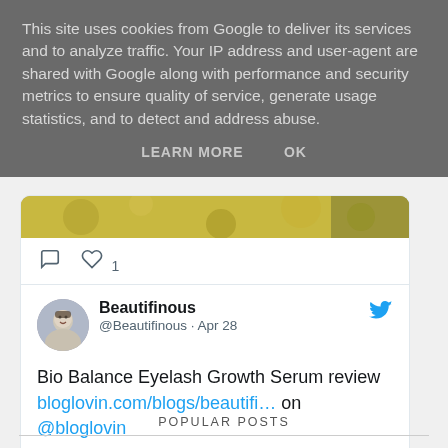This site uses cookies from Google to deliver its services and to analyze traffic. Your IP address and user-agent are shared with Google along with performance and security metrics to ensure quality of service, generate usage statistics, and to detect and address abuse.
LEARN MORE   OK
[Figure (screenshot): Partial image strip showing food/decorative items in yellow and brown tones]
comment icon, heart icon 1
Beautifinous @Beautifinous · Apr 28
Bio Balance Eyelash Growth Serum review bloglovin.com/blogs/beautifi... on @bloglovin
[Figure (screenshot): Partial bottom image strip showing beauty products in light tones]
POPULAR POSTS